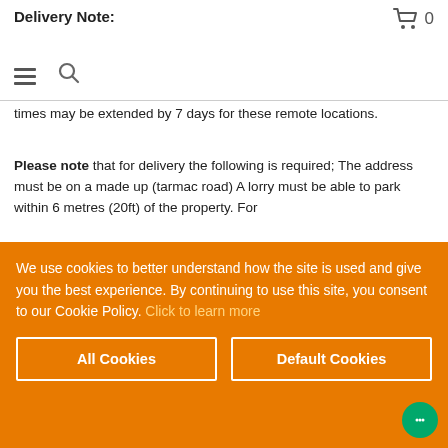Delivery Note:
[Figure (other): Shopping cart icon with count 0]
[Figure (other): Hamburger menu icon and search icon]
times may be extended by 7 days for these remote locations.
Please note that for delivery the following is required; The address must be on a made up (tarmac road) A lorry must be able to park within 6 metres (20ft) of the property. For [partially obscured text] ...hs ...5ft ...on the
We use cookies to better understand how the site is used and give you the best experience. By continuing to use this site, you consent to our Cookie Policy. Click to learn more
All Cookies
Default Cookies